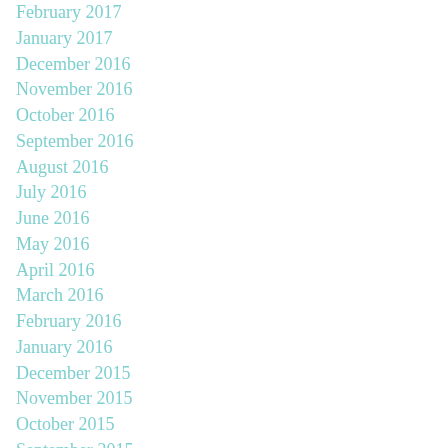February 2017
January 2017
December 2016
November 2016
October 2016
September 2016
August 2016
July 2016
June 2016
May 2016
April 2016
March 2016
February 2016
January 2016
December 2015
November 2015
October 2015
September 2015
July 2015
May 2015
April 2015
March 2015
February 2015